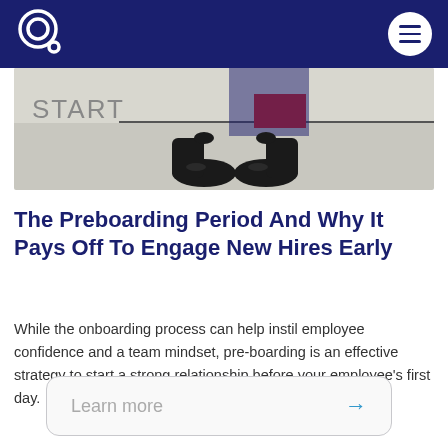Navigation bar with logo and menu
[Figure (photo): Photo showing shoes/feet at a START line with a red marker, partially overlaid by the dark navigation bar.]
The Preboarding Period And Why It Pays Off To Engage New Hires Early
While the onboarding process can help instil employee confidence and a team mindset, pre-boarding is an effective strategy to start a strong relationship before your employee's first day.
Learn more →